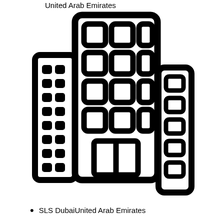United Arab Emirates
[Figure (illustration): Black and white icon/illustration of city buildings - a tall central building with a grid of windows, flanked by two smaller buildings on the left and right, all in bold outline style]
SLS DubaiUnited Arab Emirates